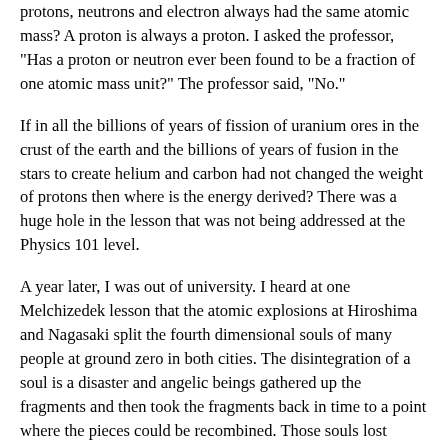protons, neutrons and electron always had the same atomic mass? A proton is always a proton. I asked the professor, "Has a proton or neutron ever been found to be a fraction of one atomic mass unit?" The professor said, "No."
If in all the billions of years of fission of uranium ores in the crust of the earth and the billions of years of fusion in the stars to create helium and carbon had not changed the weight of protons then where is the energy derived? There was a huge hole in the lesson that was not being addressed at the Physics 101 level.
A year later, I was out of university. I heard at one Melchizedek lesson that the atomic explosions at Hiroshima and Nagasaki split the fourth dimensional souls of many people at ground zero in both cities. The disintegration of a soul is a disaster and angelic beings gathered up the fragments and then took the fragments back in time to a point where the pieces could be recombined. Those souls lost memories and the understanding and wisdom of the experiences. They had to travel a parallel life path for a second time to gather again what they had lost.
The fusion explosions ripped holes in both the third and